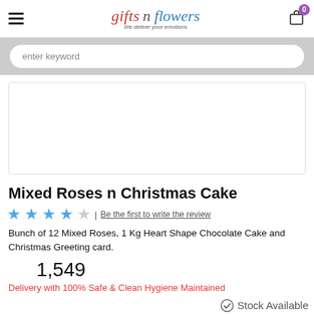gifts n flowers | We deliver your emotions
enter keyword
[Figure (photo): Product image placeholder area (white box with border)]
Mixed Roses n Christmas Cake
★★★★☆ | Be the first to write the review
Bunch of 12 Mixed Roses, 1 Kg Heart Shape Chocolate Cake and Christmas Greeting card.
1,549
Delivery with 100% Safe & Clean Hygiene Maintained
Stock Available